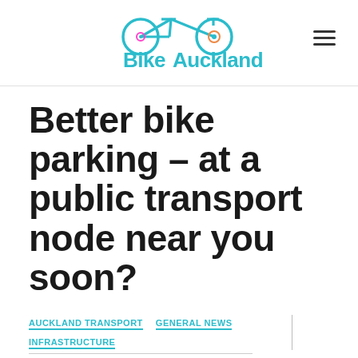Bike Auckland
Better bike parking – at a public transport node near you soon?
AUCKLAND TRANSPORT
GENERAL NEWS
INFRASTRUCTURE
Jun 11, 2013
BarbC